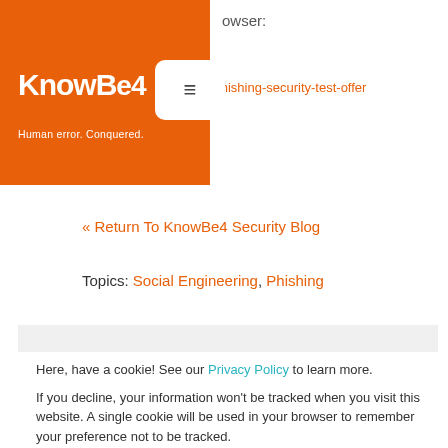[Figure (logo): KnowBe4 logo on orange background with tagline 'Human error. Conquered.' and a white chat/menu icon overlay]
owser:
be4.com/phishing-security-test-offer
« Return To KnowBe4 Security Blog
Topics: Social Engineering, Phishing
Here, have a cookie! See our Privacy Policy to learn more.

If you decline, your information won't be tracked when you visit this website. A single cookie will be used in your browser to remember your preference not to be tracked.